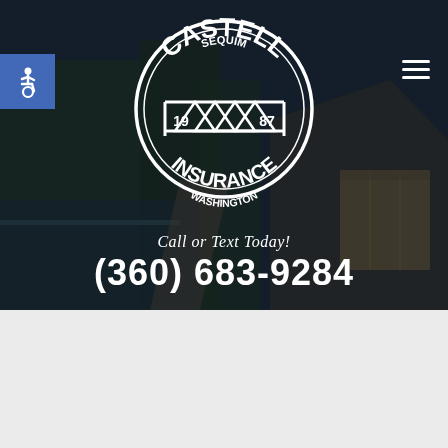[Figure (photo): Dark nighttime exterior photo of a modern house near a beach with trees in the foreground, overlaid with a dark semi-transparent filter. Castell Insurance logo centered in the hero area. Blue accessibility button on the left. Hamburger menu icon on the right.]
Call or Text Today!
(360) 683-9284